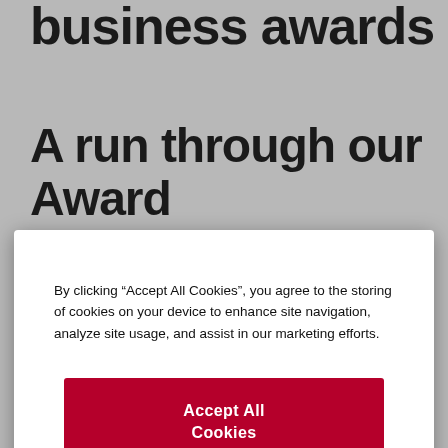business awards
A run through our Award Wi
By clicking “Accept All Cookies”, you agree to the storing of cookies on your device to enhance site navigation, analyze site usage, and assist in our marketing efforts.
Accept All Cookies
Cookies Settings